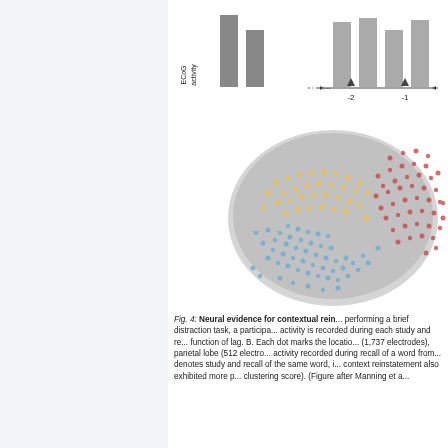[Figure (schematic): Top portion of Figure 4 panel A showing ECoG activity bars (gray rectangles) plotted as a function of lag, with axis labels showing -2 and -1, partially cropped at top]
[Figure (illustration): Panel B: Brain image (lateral view) with colored dots marking electrode locations. Yellow dots in frontal/temporal region (1,737 electrodes), red/orange dots in parietal lobe (512 electrodes), blue dots in occipital/lower regions.]
Fig. 4: Neural evidence for contextual rein... performing a brief distraction task, a participa... activity is recorded during each study and re... function of lag. B. Each dot marks the locatio... (1,737 electrodes), parietal lobe (512 electro... activity recorded during recall of a word from... denotes study and recall of the same word, i... context reinstatement also exhibited more p... clustering score). (Figure after Manning et a...